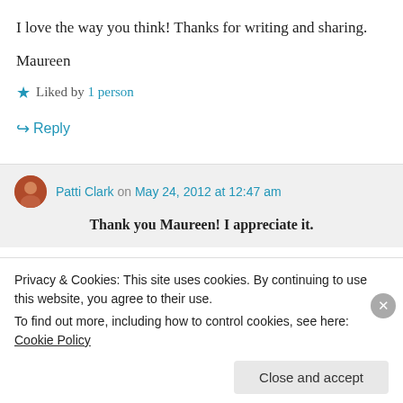I love the way you think! Thanks for writing and sharing.
Maureen
★ Liked by 1 person
↪ Reply
Patti Clark on May 24, 2012 at 12:47 am
Thank you Maureen! I appreciate it.
Privacy & Cookies: This site uses cookies. By continuing to use this website, you agree to their use. To find out more, including how to control cookies, see here: Cookie Policy
Close and accept